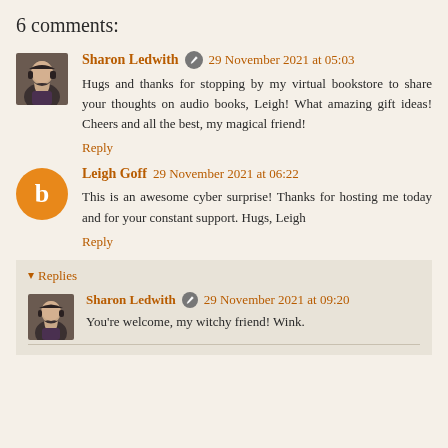6 comments:
Sharon Ledwith  29 November 2021 at 05:03
Hugs and thanks for stopping by my virtual bookstore to share your thoughts on audio books, Leigh! What amazing gift ideas! Cheers and all the best, my magical friend!
Reply
Leigh Goff  29 November 2021 at 06:22
This is an awesome cyber surprise! Thanks for hosting me today and for your constant support. Hugs, Leigh
Reply
▾ Replies
Sharon Ledwith  29 November 2021 at 09:20
You're welcome, my witchy friend! Wink.